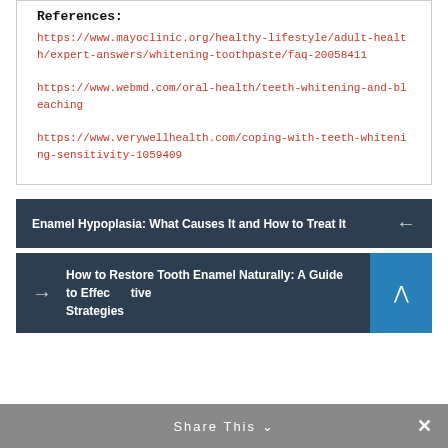References:
https://www.mayoclinic.org/healthy-lifestyle/adult-health/expert-answers/whitening-toothpaste/faq-20058411
https://www.webmd.com/oral-health/teeth-whitening-and-bleaching
https://www.verywellhealth.com/coping-with-teeth-whitening-sensitivity-1059409
Enamel Hypoplasia: What Causes It and How to Treat It
How to Restore Tooth Enamel Naturally: A Guide to Effective Strategies
Share This